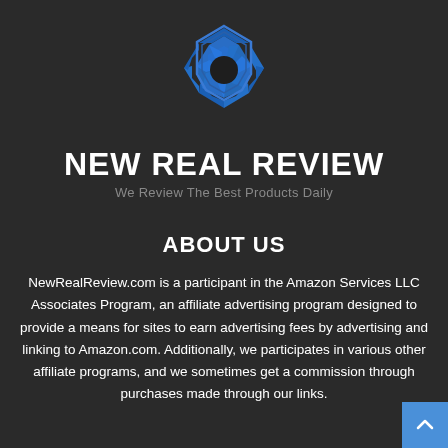[Figure (logo): New Real Review hexagonal camera aperture logo in blue on dark background]
NEW REAL REVIEW
We Review The Best Products Daily
ABOUT US
NewRealReview.com is a participant in the Amazon Services LLC Associates Program, an affiliate advertising program designed to provide a means for sites to earn advertising fees by advertising and linking to Amazon.com. Additionally, we participates in various other affiliate programs, and we sometimes get a commission through purchases made through our links.